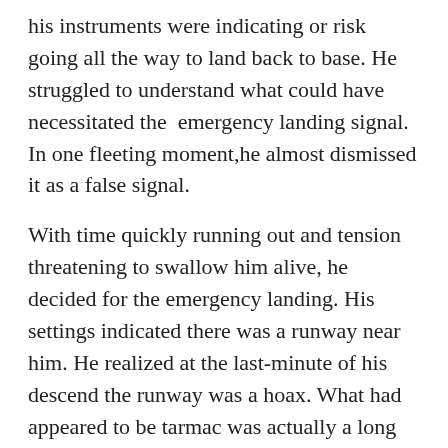his instruments were indicating or risk going all the way to land back to base. He struggled to understand what could have necessitated the  emergency landing signal. In one fleeting moment,he almost dismissed it as a false signal.
With time quickly running out and tension threatening to swallow him alive, he decided for the emergency landing. His settings indicated there was a runway near him. He realized at the last-minute of his descend the runway was a hoax. What had appeared to be tarmac was actually a long strip of old skin!
He swiftly went for the eject button and parachuted up as he watched his machine dive for the crash. He could see many donkeys